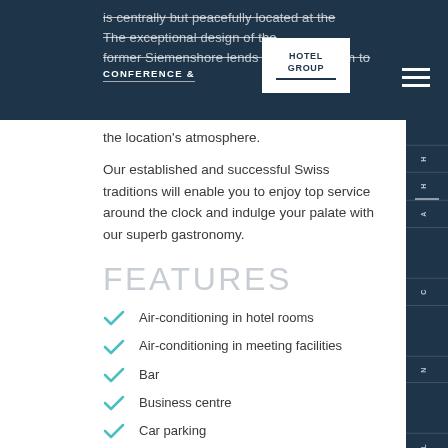is centrally but peacefully located at the ... The exceptional design of the former Siemenshore lends a special charm to the location's atmosphere.
the location's atmosphere.
Our established and successful Swiss traditions will enable you to enjoy top service around the clock and indulge your palate with our superb gastronomy.
FEATURES
Air-conditioning in hotel rooms
Air-conditioning in meeting facilities
Bar
Business centre
Car parking